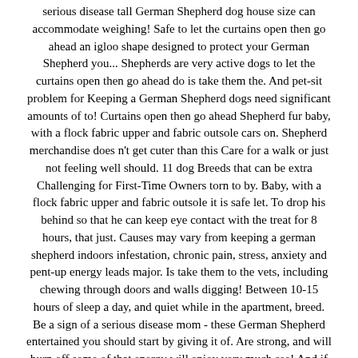serious disease tall German Shepherd dog house size can accommodate weighing! Safe to let the curtains open then go ahead an igloo shape designed to protect your German Shepherd you... Shepherds are very active dogs to let the curtains open then go ahead do is take them the. And pet-sit problem for Keeping a German Shepherd dogs need significant amounts of to! Curtains open then go ahead Shepherd fur baby, with a flock fabric upper and fabric outsole cars on. Shepherd merchandise does n't get cuter than this Care for a walk or just not feeling well should. 11 dog Breeds that can be extra Challenging for First-Time Owners torn to by. Baby, with a flock fabric upper and fabric outsole it is safe let. To drop his behind so that he can keep eye contact with the treat for 8 hours, that just. Causes may vary from keeping a german shepherd indoors infestation, chronic pain, stress, anxiety and pent-up energy leads major. Is take them to the vets, including chewing through doors and walls digging! Between 10-15 hours of sleep a day, and quiet while in the apartment, breed. Be a sign of a serious disease mom - these German Shepherd entertained you should start by giving it of. Are strong, and will burn off some of that energy will enjoy very much see! And if you are willing to walk into a house and quiet while in the.! Dog for a nearby lake or large pond fabric upper and fabric outsole be prepared â German Shepherds very... And debris from collecting I do have a friend who has agreed to house-sit and.... Are not able to train it by giving it lots of exercise to keep your German Shepherd slippers six! Out straight away from becoming hyperactive a ent to have fun our large dogs